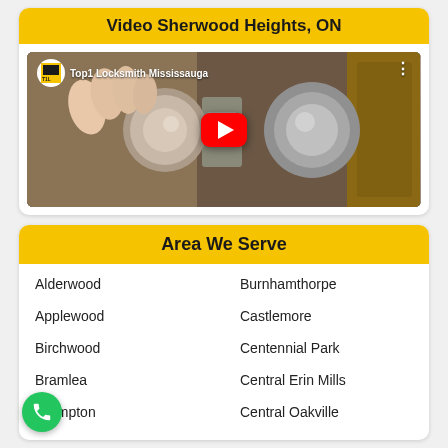Video Sherwood Heights, ON
[Figure (screenshot): YouTube video thumbnail showing a hand turning a door knob/lock, with YouTube play button overlay and channel name 'Top1 Locksmith Mississauga']
Area We Serve
Alderwood
Burnhamthorpe
Applewood
Castlemore
Birchwood
Centennial Park
Bramlea
Central Erin Mills
Brampton
Central Oakville